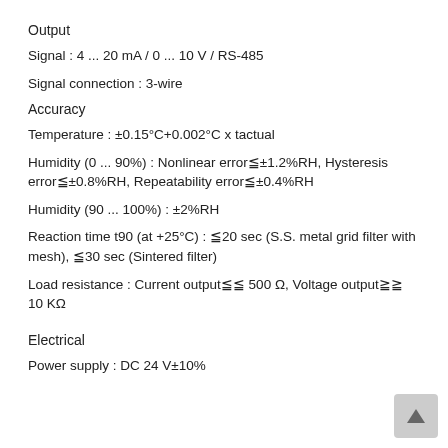Output
Signal : 4 ... 20 mA / 0 ... 10 V / RS-485
Signal connection : 3-wire
Accuracy
Temperature : ±0.15°C+0.002°C x tactual
Humidity (0 ... 90%) : Nonlinear error≦±1.2%RH, Hysteresis error≦±0.8%RH, Repeatability error≦±0.4%RH
Humidity (90 ... 100%) : ±2%RH
Reaction time t90 (at +25°C) : ≦20 sec (S.S. metal grid filter with mesh), ≦30 sec (Sintered filter)
Load resistance : Current output≦≦ 500 Ω, Voltage output≧≧ 10 KΩ
Electrical
Power supply : DC 24 V±10%